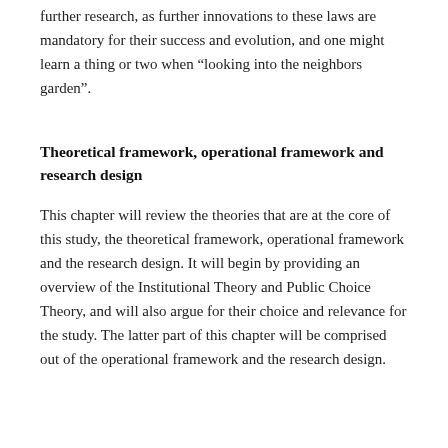further research, as further innovations to these laws are mandatory for their success and evolution, and one might learn a thing or two when “looking into the neighbors garden”.
Theoretical framework, operational framework and research design
This chapter will review the theories that are at the core of this study, the theoretical framework, operational framework and the research design. It will begin by providing an overview of the Institutional Theory and Public Choice Theory, and will also argue for their choice and relevance for the study. The latter part of this chapter will be comprised out of the operational framework and the research design.